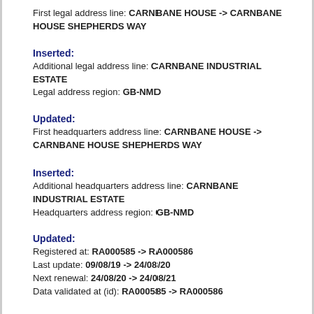First legal address line: CARNBANE HOUSE -> CARNBANE HOUSE SHEPHERDS WAY
Inserted:
Additional legal address line: CARNBANE INDUSTRIAL ESTATE
Legal address region: GB-NMD
Updated:
First headquarters address line: CARNBANE HOUSE -> CARNBANE HOUSE SHEPHERDS WAY
Inserted:
Additional headquarters address line: CARNBANE INDUSTRIAL ESTATE
Headquarters address region: GB-NMD
Updated:
Registered at: RA000585 -> RA000586
Last update: 09/08/19 -> 24/08/20
Next renewal: 24/08/20 -> 24/08/21
Data validated at (id): RA000585 -> RA000586
Deleted:
Additional legal address line: SHEPHERDS WAY
Additional legal address line: CARNBANE INDUSTRIAL